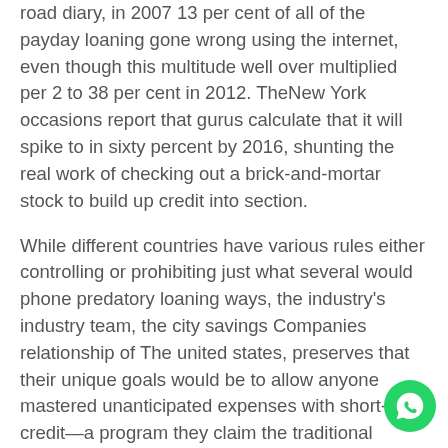road diary, in 2007 13 per cent of all of the payday loaning gone wrong using the internet, even though this multitude well over multiplied per 2 to 38 per cent in 2012. TheNew York occasions report that gurus calculate that it will spike to in sixty percent by 2016, shunting the real work of checking out a brick-and-mortar stock to build up credit into section.
While different countries have various rules either controlling or prohibiting just what several would phone predatory loaning ways, the industry's industry team, the city savings Companies relationship of The united states, preserves that their unique goals would be to allow anyone mastered unanticipated expenses with short-term credit—a program they claim the traditional creditors can't give. Its an altruistic-sounding effort. payday loans Edinburgh If however Ray and the peers get subjected a business craze of strategically concentrating on neighborhoods affected by violence